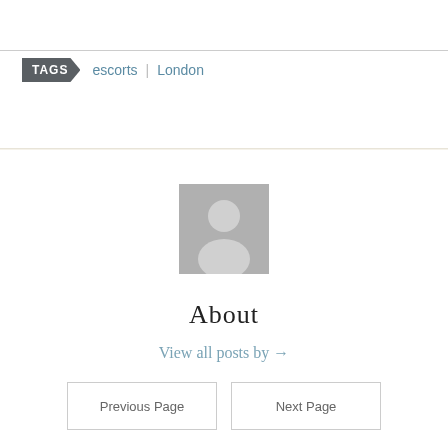TAGS   escorts  |  London
[Figure (illustration): Default grey avatar placeholder image showing a generic person silhouette (head and shoulders) in light grey on a medium grey square background]
About
View all posts by →
Previous Page   Next Page